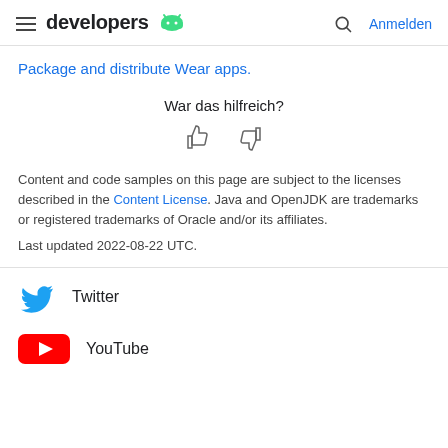developers | Anmelden
Package and distribute Wear apps.
War das hilfreich?
Content and code samples on this page are subject to the licenses described in the Content License. Java and OpenJDK are trademarks or registered trademarks of Oracle and/or its affiliates.
Last updated 2022-08-22 UTC.
Twitter
YouTube